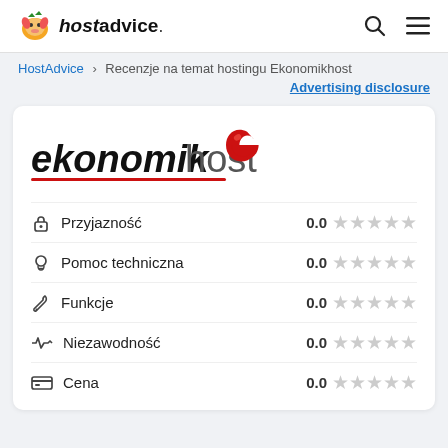hostadvice. [search] [menu]
HostAdvice > Recenzje na temat hostingu Ekonomikhost
Advertising disclosure
[Figure (logo): ekonomikhost logo with red e icon]
Przyjazność 0.0 (5 empty stars)
Pomoc techniczna 0.0 (5 empty stars)
Funkcje 0.0 (5 empty stars)
Niezawodność 0.0 (5 empty stars)
Cena 0.0 (5 empty stars)